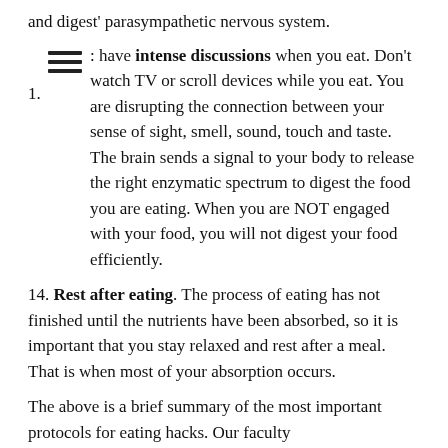and digest' parasympathetic nervous system.
1. [icon] : have intense discussions when you eat. Don't watch TV or scroll devices while you eat. You are disrupting the connection between your sense of sight, smell, sound, touch and taste. The brain sends a signal to your body to release the right enzymatic spectrum to digest the food you are eating. When you are NOT engaged with your food, you will not digest your food efficiently.
14. Rest after eating. The process of eating has not finished until the nutrients have been absorbed, so it is important that you stay relaxed and rest after a meal. That is when most of your absorption occurs.
The above is a brief summary of the most important protocols for eating hacks. Our faculty